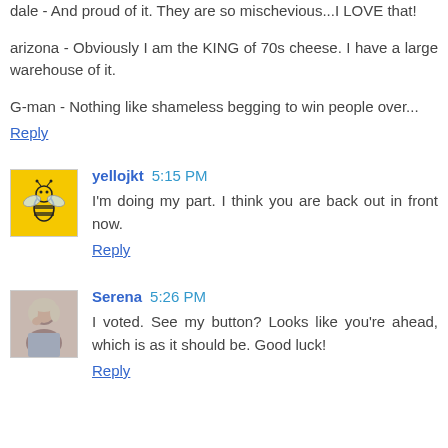dale - And proud of it. They are so mischevious...I LOVE that!
arizona - Obviously I am the KING of 70s cheese. I have a large warehouse of it.
G-man - Nothing like shameless begging to win people over...
Reply
yellojkt 5:15 PM
I'm doing my part. I think you are back out in front now.
Reply
Serena 5:26 PM
I voted. See my button? Looks like you're ahead, which is as it should be. Good luck!
Reply